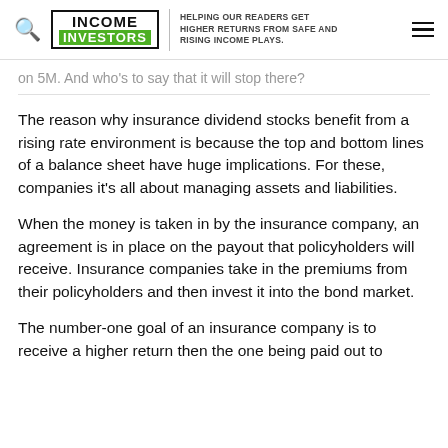INCOME INVESTORS — HELPING OUR READERS GET HIGHER RETURNS FROM SAFE AND RISING INCOME PLAYS.
on 5M. And who's to say that it will stop there?
The reason why insurance dividend stocks benefit from a rising rate environment is because the top and bottom lines of a balance sheet have huge implications. For these, companies it's all about managing assets and liabilities.
When the money is taken in by the insurance company, an agreement is in place on the payout that policyholders will receive. Insurance companies take in the premiums from their policyholders and then invest it into the bond market.
The number-one goal of an insurance company is to receive a higher return then the one being paid out to